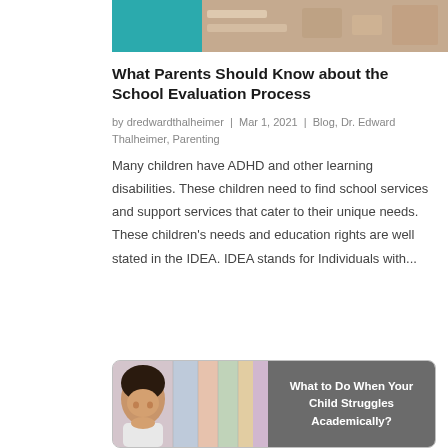[Figure (photo): Partial top banner image showing hands writing or working, with a teal/turquoise color block on the left side]
What Parents Should Know about the School Evaluation Process
by dredwardthalheimer | Mar 1, 2021 | Blog, Dr. Edward Thalheimer, Parenting
Many children have ADHD and other learning disabilities. These children need to find school services and support services that cater to their unique needs. These children's needs and education rights are well stated in the IDEA. IDEA stands for Individuals with...
[Figure (photo): Card with a photo of a child looking down on the left, and dark gray box on the right with white text reading 'What to Do When Your Child Struggles Academically?']